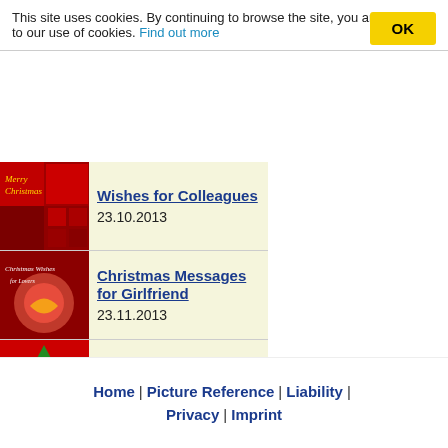This site uses cookies. By continuing to browse the site, you are agreeing to our use of cookies. Find out more
Wishes for Colleagues
23.10.2013
Christmas Messages for Girlfriend
23.11.2013
Christmas Sayings
02.11.2013
Free printable christmas cards
19.10.2013
Home | Picture Reference | Liability | Privacy | Imprint